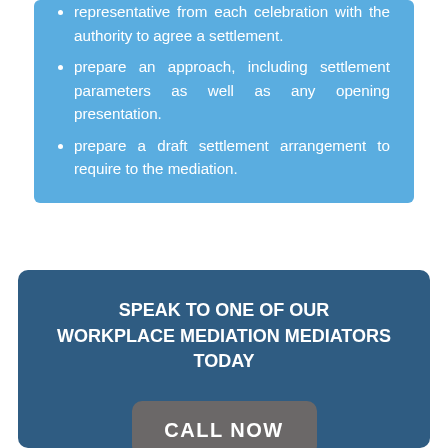representative from each celebration with the authority to agree a settlement.
prepare an approach, including settlement parameters as well as any opening presentation.
prepare a draft settlement arrangement to require to the mediation.
SPEAK TO ONE OF OUR WORKPLACE MEDIATION MEDIATORS TODAY
CALL NOW